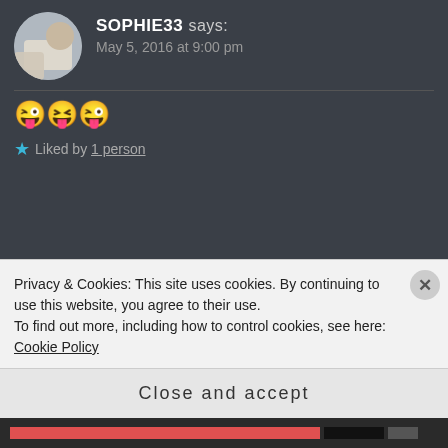SOPHIE33 says: May 5, 2016 at 9:00 pm
😜😝😜
★ Liked by 1 person
SKD says: May 6, 2016 at 9:10 am
😊 💖
Privacy & Cookies: This site uses cookies. By continuing to use this website, you agree to their use. To find out more, including how to control cookies, see here: Cookie Policy
Close and accept